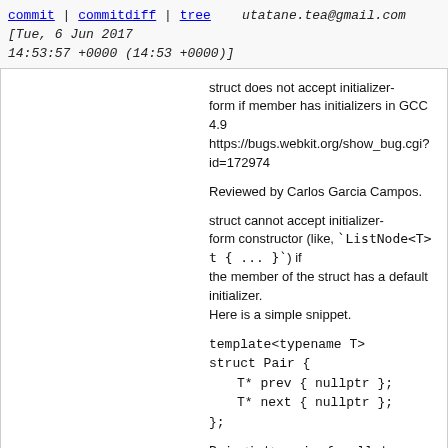commit | commitdiff | tree    utatane.tea@gmail.com [Tue, 6 Jun 2017 14:53:57 +0000 (14:53 +0000)]
struct does not accept initializer-form if member has initializers in GCC 4.9 https://bugs.webkit.org/show_bug.cgi?id=172974
Reviewed by Carlos Garcia Campos.
struct cannot accept initializer-form constructor (like, `ListNode<T> t { ... }`) if the member of the struct has a default initializer. Here is a simple snippet.
template<typename T>
struct Pair {
    T* prev { nullptr };
    T* next { nullptr };
};
Pair<int> pair { nullptr, nullptr };  // compile erorr in
Instead, we define a default constructor (to invoke to accept the above initialization.
* bmalloc/List.h:
(bmalloc::ListNode::ListNode):
(bmalloc::List::iterator::iterator):